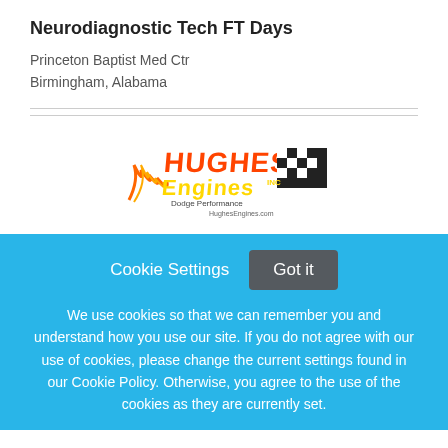Neurodiagnostic Tech FT Days
Princeton Baptist Med Ctr
Birmingham, Alabama
[Figure (logo): Hughes Engines Inc - Dodge Performance logo with racing checkered flag design, orange and yellow text on dark background, HughesEngines.com]
Cookie Settings   Got it
We use cookies so that we can remember you and understand how you use our site. If you do not agree with our use of cookies, please change the current settings found in our Cookie Policy. Otherwise, you agree to the use of the cookies as they are currently set.